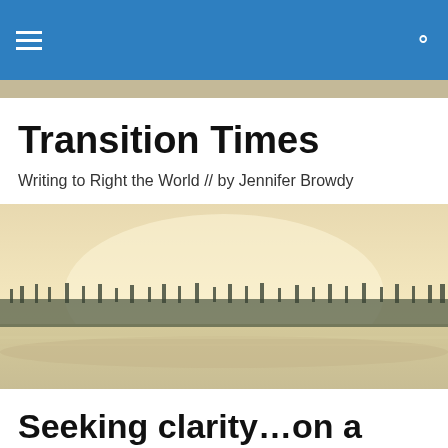Transition Times
Writing to Right the World // by Jennifer Browdy
[Figure (photo): Wide landscape photo showing a misty coastal or lakeside scene at dawn, with silhouetted pine trees along the horizon and a pale yellow-white sky above calm water.]
Seeking clarity…on a new, better “normal”
In the northern hemisphere, each day is getting a little shorter now—the  darkness of dawn lasting longer, and the …